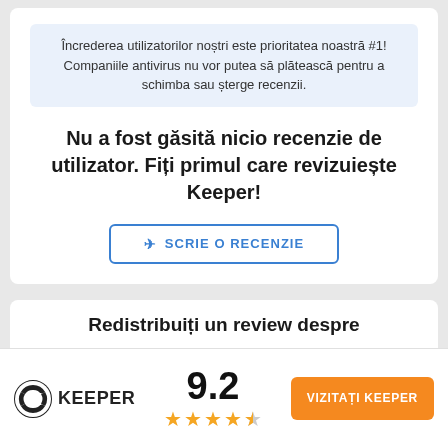Încrederea utilizatorilor noștri este prioritatea noastră #1! Companiile antivirus nu vor putea să plătească pentru a schimba sau șterge recenzii.
Nu a fost găsită nicio recenzie de utilizator. Fiți primul care revizuiește Keeper!
✈ SCRIE O RECENZIE
Redistribuiți un review despre
[Figure (logo): Keeper logo with circular icon and text KEEPER]
9.2
★★★★☆ (4.5 stars)
VIZITAȚI KEEPER